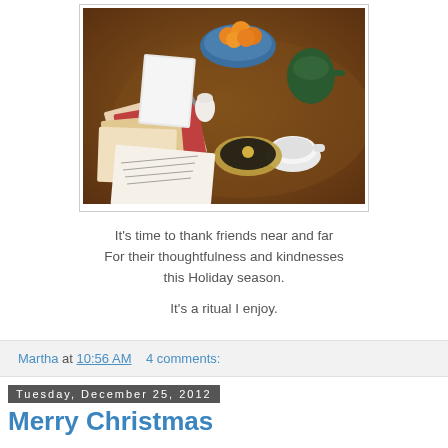[Figure (photo): A wooden dining table with Christmas cards, handwritten notes, a bowl of oranges, a teapot, teacup and saucer arranged on it.]
It's time to thank friends near and far
For their thoughtfulness and kindnesses this Holiday season.

It's a ritual I enjoy.
Martha at 10:56 AM    4 comments:
Tuesday, December 25, 2012
Merry Christmas